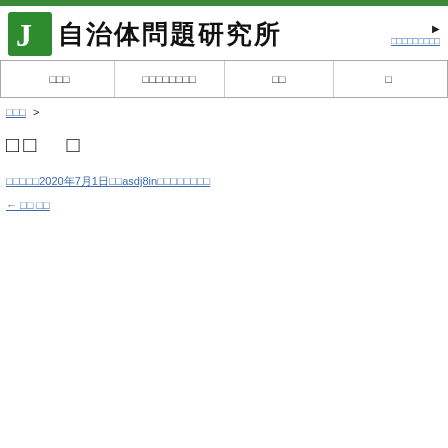自治体問題研究所
□□□ □□□□□□□□ □□ □
□□□ >
□□　□
□□□□□2020年7月1日□□asdj8in□□□□□□□□
← □□ □□